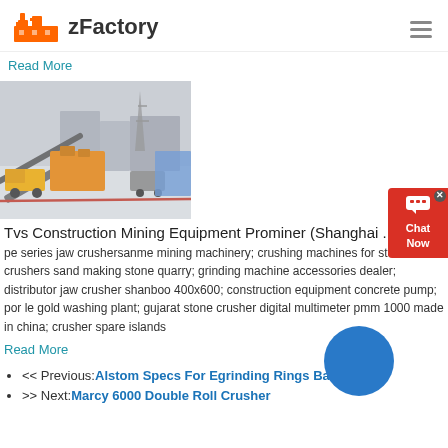zFactory
Read More
[Figure (photo): Aerial/elevated view of a construction mining equipment site with crushers, conveyor belts, and heavy machinery in a snowy outdoor setting]
Tvs Construction Mining Equipment Prominer (Shanghai ...
pe series jaw crushersanme mining machinery; crushing machines for stone crushers sand making stone quarry; grinding machine accessories dealer; distributor jaw crusher shanboo 400x600; construction equipment concrete pump; por le gold washing plant; gujarat stone crusher digital multimeter pmm 1000 made in china; crusher spare islands
Read More
<< Previous:Alstom Specs For Egrinding Rings Balls
>> Next:Marcy 6000 Double Roll Crusher